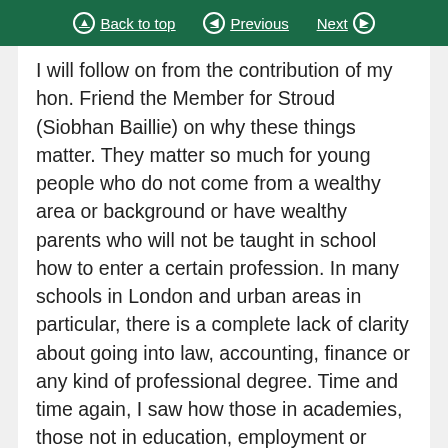Back to top | Previous | Next
I will follow on from the contribution of my hon. Friend the Member for Stroud (Siobhan Baillie) on why these things matter. They matter so much for young people who do not come from a wealthy area or background or have wealthy parents who will not be taught in school how to enter a certain profession. In many schools in London and urban areas in particular, there is a complete lack of clarity about going into law, accounting, finance or any kind of professional degree. Time and time again, I saw how those in academies, those not in education, employment or training and those falling through the cracks who had been put into special education were not given any skills to navigate towards a career or any future at all. I watched talented, intelligent young people fall by the